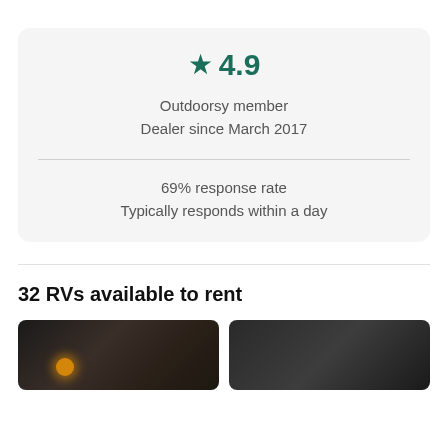★ 4.9
Outdoorsy member
Dealer since March 2017
69% response rate
Typically responds within a day
32 RVs available to rent
[Figure (photo): Two RV/motorhome photos side by side. Left photo shows dark interior/exterior of a large motorhome with amber lights glowing. Right photo shows the front of a dark-colored motorhome or bus-style RV.]